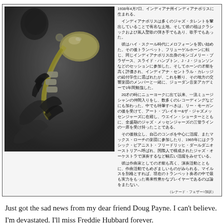[Figure (photo): Black and white photograph of a jazz musician (Freddie Hubbard) playing trumpet, close-up view of hands and instrument, dramatic lighting]
1938年4月7日、インディアナ州インディアナポリスに生まれる。
　インディアナポリスは多くのジャズ・タレントを輩出していることで有名な土地。そして彼の祖はクラシックおよび黒人聖歌の弾き手でもあり、歌手でもあった。
　彼はハイ・スクール時代にメロフォーンを習い始めた。その後トランペット、フリューゲルホーンに転じ、同じインディアナポリス出身のモンゴメリー・ブラザース、スライド・ハンプトン、J・J・ジョンソンなどのセッションに参加した。そしてホーンの才能を高く評価され、インディアナ・セントラル・カレッジの給付学生に選ばれたが、これを断り、その地方の交響楽団のメンバーと一緒に、ジョーダン音楽アカデミーで1年間勉強した。
　20才の時にニューヨークに出て以来、一流ミュージシャンの仲間入りをし、数多くのレコーディングなどにも加わった。中でも特筆すべきは、リー・モーガンの後を受けて、アート・ブレイキー&ザ・ジャズメッセンジャーズに在籍し、ウエイン・ショーターとともに、全盛期のジャズ・メッセンジャーズの三管ラインの一席を受け持ったことである。
　その後独立し、自己のコンボを中心に活躍、またマックス・ローチの楽団に参加したり、1965年にはクラシック・ピアニスト・フリードリッヒ・ダールダニオーストリアへ呼ばれ、国際人で構成されたジャズ・オーケストラで演奏するなど幅広い活躍をみせている。
　彼は作曲家としての才能も高く、演奏活動とともに、作曲活動でもめざましいものがみられる。マイルスを別格とすれば、現在のトランペット奏者の中で最も実力をもった将来性豊かなプレイヤーであるのは論をまたない。
（レナード・フェザー=加訳）
Just got the sad news from my dear friend Doug Payne. I can't believe. I'm devastated. I'll miss Freddie Hubbard forever.